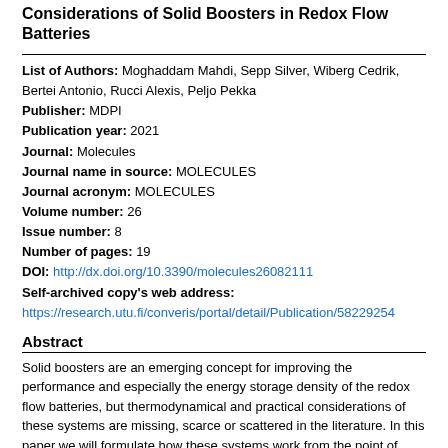Considerations of Solid Boosters in Redox Flow Batteries
List of Authors: Moghaddam Mahdi, Sepp Silver, Wiberg Cedrik, Bertei Antonio, Rucci Alexis, Peljo Pekka
Publisher: MDPI
Publication year: 2021
Journal: Molecules
Journal name in source: MOLECULES
Journal acronym: MOLECULES
Volume number: 26
Issue number: 8
Number of pages: 19
DOI: http://dx.doi.org/10.3390/molecules26082111
Self-archived copy's web address: https://research.utu.fi/converis/portal/detail/Publication/58229254
Abstract
Solid boosters are an emerging concept for improving the performance and especially the energy storage density of the redox flow batteries, but thermodynamical and practical considerations of these systems are missing, scarce or scattered in the literature. In this paper we will formulate how these systems work from the point of view of thermodynamics. We describe possible pathways for charge transfer, estimate the overpotentials required for these reactions in realistic conditions, and illustrate the range of energy